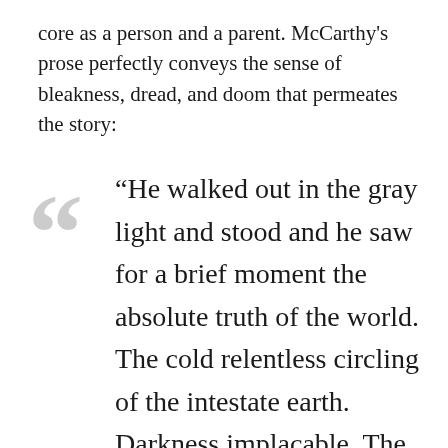core as a person and a parent. McCarthy's prose perfectly conveys the sense of bleakness, dread, and doom that permeates the story:
“He walked out in the gray light and stood and he saw for a brief moment the absolute truth of the world. The cold relentless circling of the intestate earth. Darkness implacable. The blind dogs of the sun in their running. The crushing black vacuum of the universe. And somewhere two hunted animals trembling